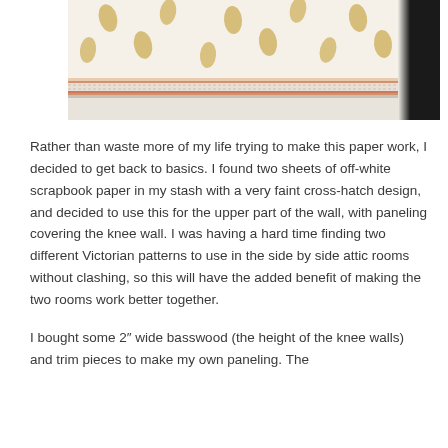[Figure (photo): Photo of a room corner showing white wallpaper with faint gold leaf/feather motifs and a decorative pink/red border stripe at chair-rail height. The far right edge of the photo is in shadow/dark.]
Rather than waste more of my life trying to make this paper work, I decided to get back to basics. I found two sheets of off-white scrapbook paper in my stash with a very faint cross-hatch design, and decided to use this for the upper part of the wall, with paneling covering the knee wall. I was having a hard time finding two different Victorian patterns to use in the side by side attic rooms without clashing, so this will have the added benefit of making the two rooms work better together.
I bought some 2″ wide basswood (the height of the knee walls) and trim pieces to make my own paneling. The